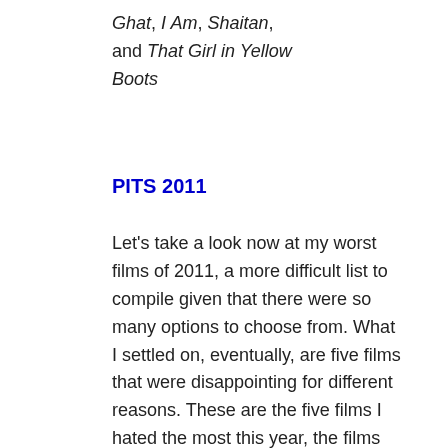Ghat, I Am, Shaitan, and That Girl in Yellow Boots
PITS 2011
Let's take a look now at my worst films of 2011, a more difficult list to compile given that there were so many options to choose from. What I settled on, eventually, are five films that were disappointing for different reasons. These are the five films I hated the most this year, the films that were